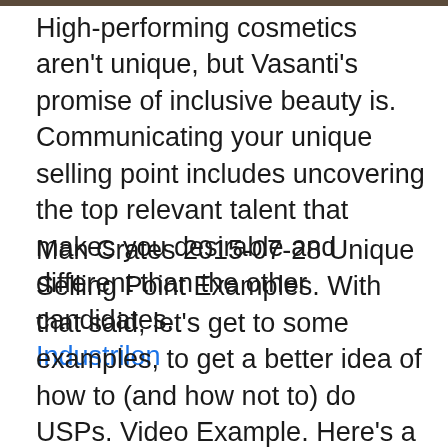High-performing cosmetics aren't unique, but Vasanti's promise of inclusive beauty is. Communicating your unique selling point includes uncovering the top relevant talent that makes you desirable and different than the other candidates. Industrilon
Man Crates 2015-07-28 Unique Selling Point Examples. With that said, let's get to some examples, to get a better idea of how to (and how not to) do USPs. Video Example. Here's a quick video with my thoughts on a pair of examples: I advocate creating and selling products in active, evergreen markets, so that you can build something once and sell it for many years to 2020-04-27 Selling point definition is - an aspect or detail of something that is emphasized (as in selling or